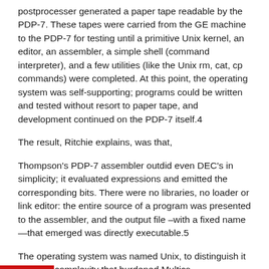postprocesser generated a paper tape readable by the PDP-7. These tapes were carried from the GE machine to the PDP-7 for testing until a primitive Unix kernel, an editor, an assembler, a simple shell (command interpreter), and a few utilities (like the Unix rm, cat, cp commands) were completed. At this point, the operating system was self-supporting; programs could be written and tested without resort to paper tape, and development continued on the PDP-7 itself.4
The result, Ritchie explains, was that,
Thompson's PDP-7 assembler outdid even DEC's in simplicity; it evaluated expressions and emitted the corresponding bits. There were no libraries, no loader or link editor: the entire source of a program was presented to the assembler, and the output file –with a fixed name—that emerged was directly executable.5
The operating system was named Unix, to distinguish it from the complexity that burdened Multics.